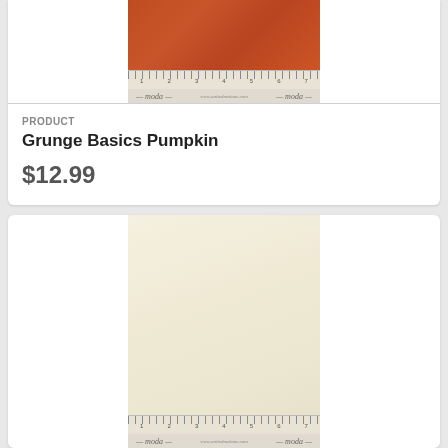[Figure (photo): Pumpkin orange grunge fabric swatch with ruler and Moda brand label at bottom]
PRODUCT
Grunge Basics Pumpkin
$12.99
[Figure (photo): Cream/off-white grunge fabric swatch with ruler and Moda brand label at bottom]